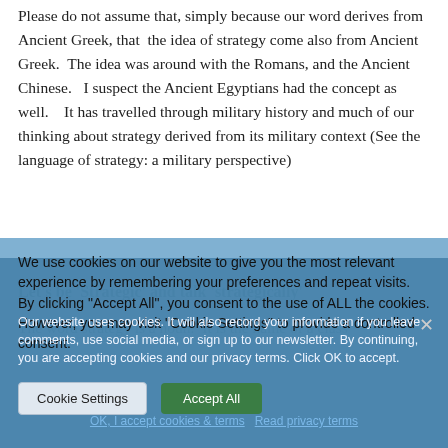Please do not assume that, simply because our word derives from Ancient Greek, that the idea of strategy come also from Ancient Greek. The idea was around with the Romans, and the Ancient Chinese. I suspect the Ancient Egyptians had the concept as well. It has travelled through military history and much of our thinking about strategy derived from its military context (See the language of strategy: a military perspective)
Let's be 'Strategic' and talk 'strategically'
The word strategy is a noun. It is the name of a class
We use cookies on our website to give you the most relevant experience by remembering your preferences and repeat visits. By clicking "Accept All", you consent to the use of ALL the cookies. However, you may visit "Cookie Settings" to provide a controlled consent.
Our website uses cookies. It will also record your information if you leave comments, use social media, or sign up to our newsletter. By continuing, you are accepting cookies and our privacy terms. Click OK to accept.